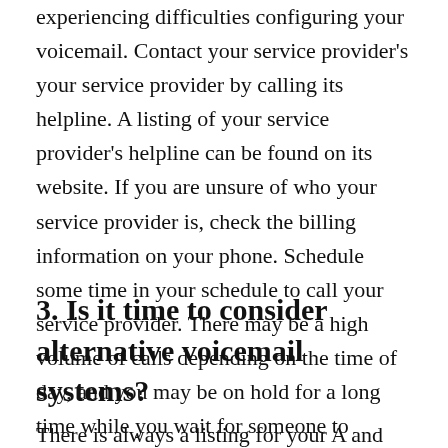experiencing difficulties configuring your voicemail. Contact your service provider's your service provider by calling its helpline. A listing of your service provider's helpline can be found on its website. If you are unsure of who your service provider is, check the billing information on your phone. Schedule some time in your schedule to call your service provider. There may be a high volume of calls depending on the time of day, and you may be on hold for a long time while you wait for someone to answer.
3. Is it time to consider alternative voicemail systems?
There is always a listing for your A and here are some